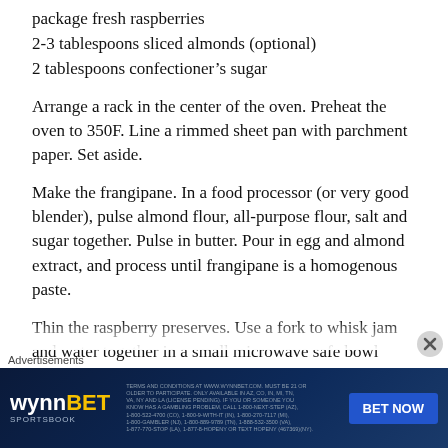package fresh raspberries
2-3 tablespoons sliced almonds (optional)
2 tablespoons confectioner’s sugar
Arrange a rack in the center of the oven. Preheat the oven to 350F. Line a rimmed sheet pan with parchment paper. Set aside.
Make the frangipane. In a food processor (or very good blender), pulse almond flour, all-purpose flour, salt and sugar together. Pulse in butter. Pour in egg and almond extract, and process until frangipane is a homogenous paste.
Thin the raspberry preserves. Use a fork to whisk jam and water together in a small microwave safe bowl
[Figure (other): WynnBET Sportsbook advertisement banner with 'BET NOW' button]